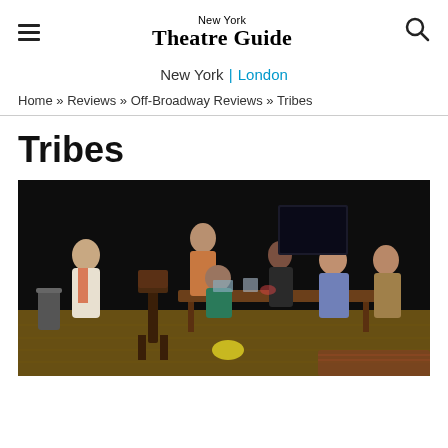New York Theatre Guide
New York | London
Home » Reviews » Off-Broadway Reviews » Tribes
Tribes
[Figure (photo): Stage production photo of Tribes: six actors around a dining table on a wood-floor stage with dark background. One woman stands at left, a man stands center-back, and four others are seated around the table.]